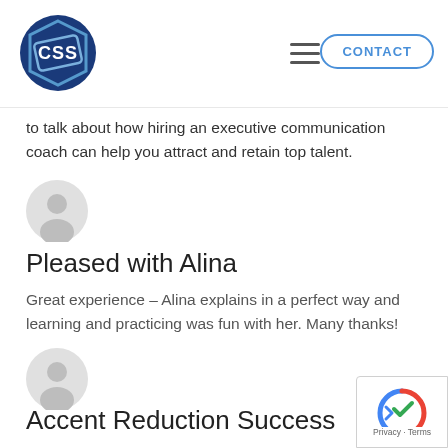CSS [logo] | hamburger menu | CONTACT
to talk about how hiring an executive communication coach can help you attract and retain top talent.
[Figure (illustration): Default user avatar icon (grey silhouette of a person)]
Pleased with Alina
Great experience – Alina explains in a perfect way and learning and practicing was fun with her. Many thanks!
[Figure (illustration): Default user avatar icon (grey silhouette of a person)]
Accent Reduction Success